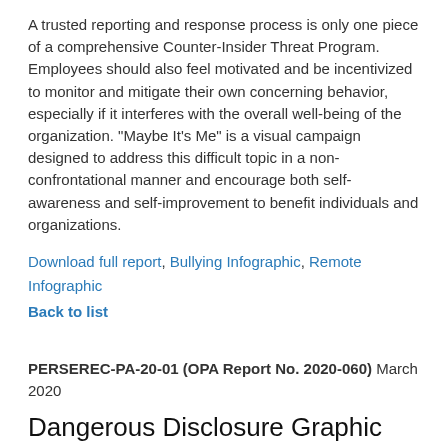A trusted reporting and response process is only one piece of a comprehensive Counter-Insider Threat Program. Employees should also feel motivated and be incentivized to monitor and mitigate their own concerning behavior, especially if it interferes with the overall well-being of the organization. "Maybe It's Me" is a visual campaign designed to address this difficult topic in a non-confrontational manner and encourage both self-awareness and self-improvement to benefit individuals and organizations.
Download full report, Bullying Infographic, Remote Infographic
Back to list
PERSEREC-PA-20-01 (OPA Report No. 2020-060) March 2020
Dangerous Disclosure Graphic Novel
Unauthorized disclosure is an ongoing national security concern DoDM 5200.01. In collaboration with DoDs Counter-Insider Threat Program and the National Insider Threat Task Force, The threat is developed this graphic novel to raise...